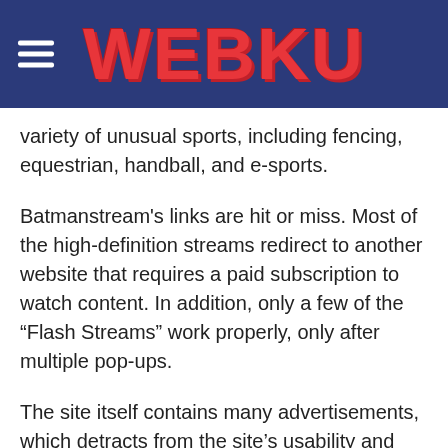WEBKU
variety of unusual sports, including fencing, equestrian, handball, and e-sports.
Batmanstream's links are hit or miss. Most of the high-definition streams redirect to another website that requires a paid subscription to watch content. In addition, only a few of the “Flash Streams” work properly, only after multiple pop-ups.
The site itself contains many advertisements, which detracts from the site’s usability and navigation. Additionally, the layout is a little chaotic, which may offer difficulties for inexperienced users.
14. Fubo TV